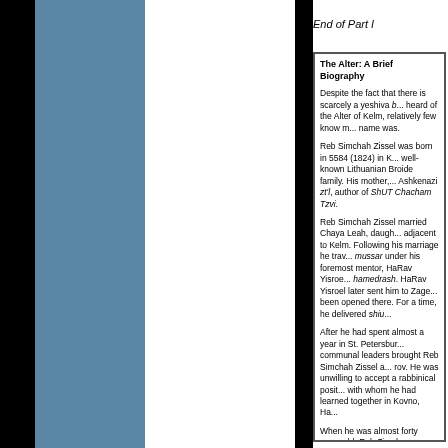End of Part I
The Alter: A Brief Biography
Despite the fact that there is scarcely a yeshiva b... heard of the Alter of Kelm, relatively few know m... name was.
Reb Simchah Zissel was born in 5584 (1824) in K... well-known Lithuanian Broide family. His mother,... Ashkenazi zt'l, author of ShUT Chacham Tzvi.
Reb Simchah Zissel married Chaya Leah, daugh... adjacent to Kelm. Following his marriage he trave... mussar under his foremost mentor, HaRav Yisroe... hamedrash. HaRav Yisroel later sent him to Zage... been opened there. For a time, he delivered shiu...
After he had spent almost a year in St. Petersbur... communal leaders brought Reb Simchah Zissel a... rov. He was unwilling to accept a rabbinical posit... with whom he had learned together in Kovno, Ha...
When he was almost forty years old, Reb Simcha... endeavor, the Talmud Torah of Kelm. Haskoloh w... was a real danger of mass defection from religio... earlier, the Gaon of Vilna and his immediate disc...
The Talmud Torah opened in approximately 5622...